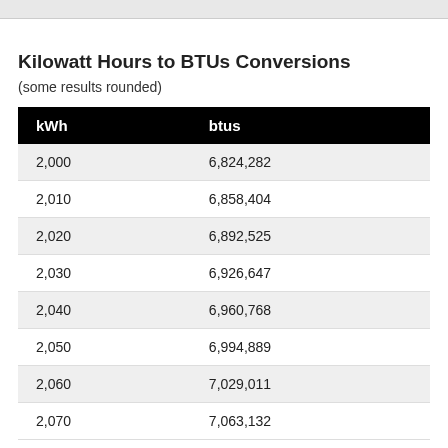Kilowatt Hours to BTUs Conversions
(some results rounded)
| kWh | btus |
| --- | --- |
| 2,000 | 6,824,282 |
| 2,010 | 6,858,404 |
| 2,020 | 6,892,525 |
| 2,030 | 6,926,647 |
| 2,040 | 6,960,768 |
| 2,050 | 6,994,889 |
| 2,060 | 7,029,011 |
| 2,070 | 7,063,132 |